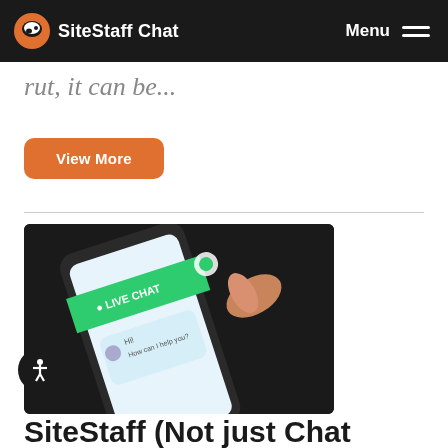SiteStaff Chat | Menu
rut, it can be...
View More
[Figure (photo): A hand pressing a LIVE CHAT button on a smartphone screen, with a chat bubble showing 'Hi! How can I help you?']
SiteStaff (Not just Chat